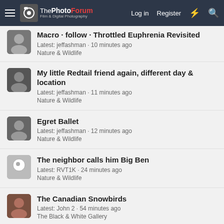ThePhotoForum - Film & Digital Photography | Log in | Register
Macro · follow · Throttled Euphrenia Revisited
Latest: jeffashman · 10 minutes ago
Nature & Wildlife
My little Redtail friend again, different day & location
Latest: jeffashman · 11 minutes ago
Nature & Wildlife
Egret Ballet
Latest: jeffashman · 12 minutes ago
Nature & Wildlife
The neighbor calls him Big Ben
Latest: RVT1K · 24 minutes ago
Nature & Wildlife
The Canadian Snowbirds
Latest: John 2 · 54 minutes ago
The Black & White Gallery
Lake Birds
Latest: PJM · Today at 7:28 AM